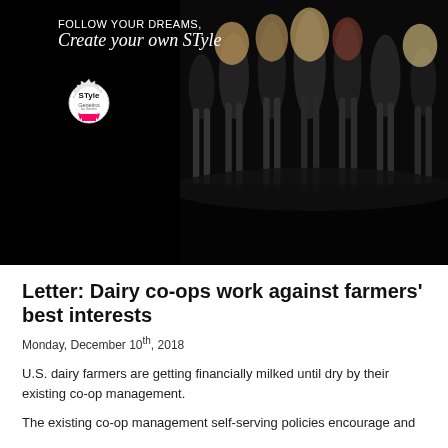[Figure (photo): Advertisement banner for STyle Genetics featuring text 'FOLLOW YOUR DREAMS, Create your own STyle' with STyle Genetics logo and dark background with figures in black]
Letter: Dairy co-ops work against farmers' best interests
Monday, December 10th, 2018
U.S. dairy farmers are getting financially milked until dry by their existing co-op management.
The existing co-op management self-serving policies encourage and